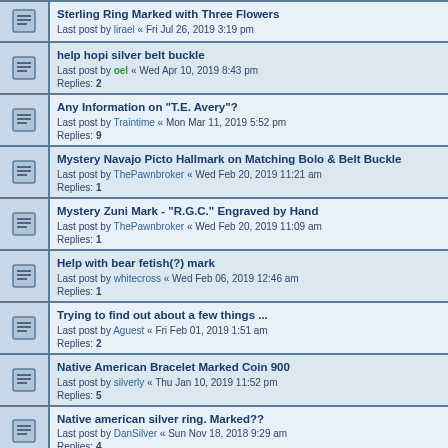Sterling Ring Marked with Three Flowers
Last post by lirael « Fri Jul 26, 2019 3:19 pm
help hopi silver belt buckle
Last post by oel « Wed Apr 10, 2019 8:43 pm
Replies: 2
Any Information on "T.E. Avery"?
Last post by Traintime « Mon Mar 11, 2019 5:52 pm
Replies: 9
Mystery Navajo Picto Hallmark on Matching Bolo & Belt Buckle
Last post by ThePawnbroker « Wed Feb 20, 2019 11:21 am
Replies: 1
Mystery Zuni Mark - "R.G.C." Engraved by Hand
Last post by ThePawnbroker « Wed Feb 20, 2019 11:09 am
Replies: 1
Help with bear fetish(?) mark
Last post by whitecross « Wed Feb 06, 2019 12:46 am
Replies: 1
Trying to find out about a few things ...
Last post by Aguest « Fri Feb 01, 2019 1:51 am
Replies: 2
Native American Bracelet Marked Coin 900
Last post by silverly « Thu Jan 10, 2019 11:52 pm
Replies: 5
Native american silver ring. Marked??
Last post by DanSilver « Sun Nov 18, 2018 9:29 am
Replies: 4
Native American Silver and Turquoise Cuff
Last post by michellemaeder « Sat Oct 06, 2018 3:08 pm
Replies: 3